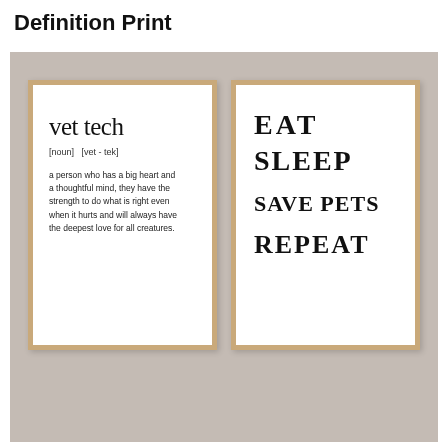Definition Print
[Figure (photo): Two framed prints displayed side by side on a shelf. Left frame: 'vet tech' definition print in serif font with phonetic pronunciation and definition text. Right frame: 'EAT SLEEP SAVE PETS REPEAT' in large bold serif font.]